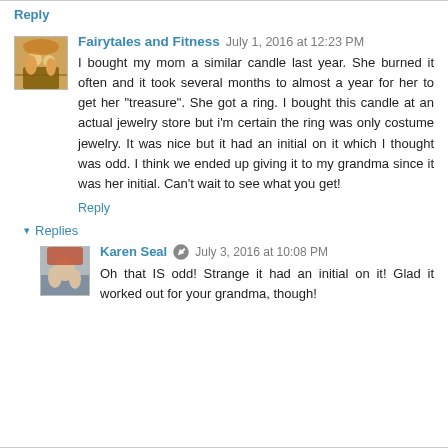Reply
Fairytales and Fitness  July 1, 2016 at 12:23 PM
I bought my mom a similar candle last year. She burned it often and it took several months to almost a year for her to get her "treasure". She got a ring. I bought this candle at an actual jewelry store but i'm certain the ring was only costume jewelry. It was nice but it had an initial on it which I thought was odd. I think we ended up giving it to my grandma since it was her initial. Can't wait to see what you get!
Reply
Replies
Karen Seal  July 3, 2016 at 10:08 PM
Oh that IS odd! Strange it had an initial on it! Glad it worked out for your grandma, though!